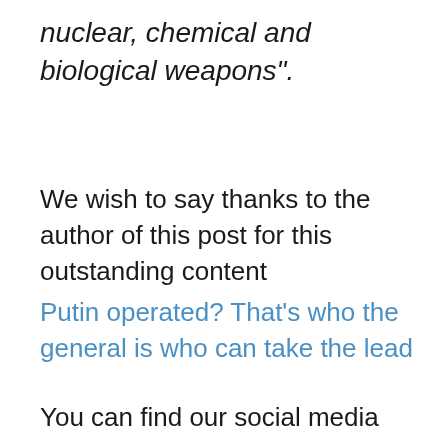nuclear, chemical and biological weapons".
We wish to say thanks to the author of this post for this outstanding content
Putin operated? That’s who the general is who can take the lead
You can find our social media pages